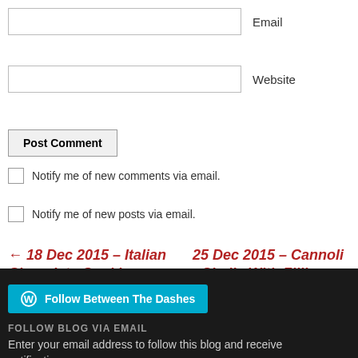Email
Website
Post Comment
Notify me of new comments via email.
Notify me of new posts via email.
← 18 Dec 2015 – Italian Chocolate Cookies
25 Dec 2015 – Cannoli Shells With Filling →
Follow Between The Dashes
FOLLOW BLOG VIA EMAIL
Enter your email address to follow this blog and receive notifications